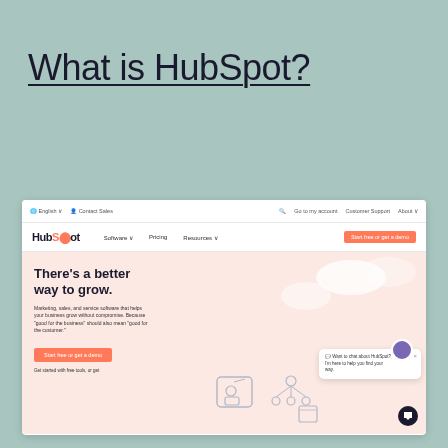What is HubSpot?
[Figure (screenshot): Screenshot of HubSpot's website homepage showing the navigation bar with HubSpot logo, Software, Pricing, Resources links, and an orange 'Start free or get a demo' button. The hero section has a peach/salmon background with the headline 'There's a better way to grow.' and supporting text about marketing, sales, and service software. A chat widget is visible in the lower right.]